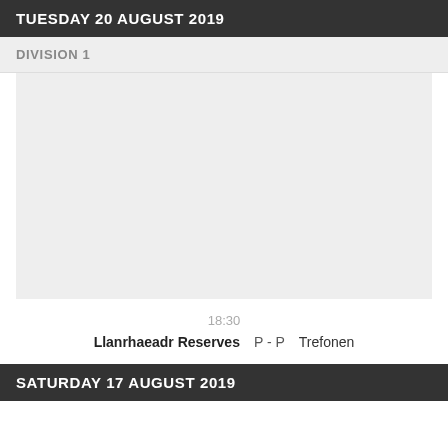TUESDAY 20 AUGUST 2019
DIVISION 1
18:30
Llanrhaeadr Reserves  P - P  Trefonen
SATURDAY 17 AUGUST 2019